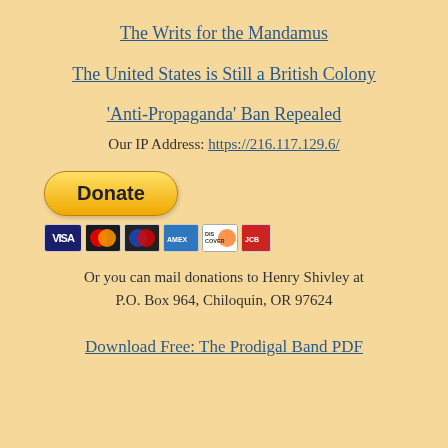The Writs for the Mandamus
The United States is Still a British Colony
‘Anti-Propaganda’ Ban Repealed
Our IP Address: https://216.117.129.6/
[Figure (other): PayPal Donate button with payment card logos (Visa, Mastercard, Maestro, American Express, Discover, JCB)]
Or you can mail donations to Henry Shivley at P.O. Box 964, Chiloquin, OR 97624
Download Free: The Prodigal Band PDF